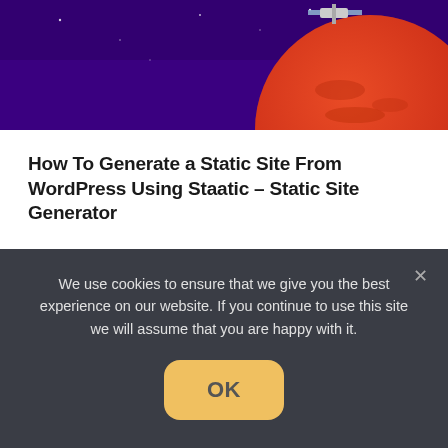[Figure (illustration): Purple space-themed illustration with a red/orange planet and a satellite visible at the top of the image]
How To Generate a Static Site From WordPress Using Staatic – Static Site Generator
Is Your WordPress Admin Slow? 11 Ways To Fix a Slow Dashboard (2022)
How To Install WordPress Locally: A Tutorial + 6
We use cookies to ensure that we give you the best experience on our website. If you continue to use this site we will assume that you are happy with it.